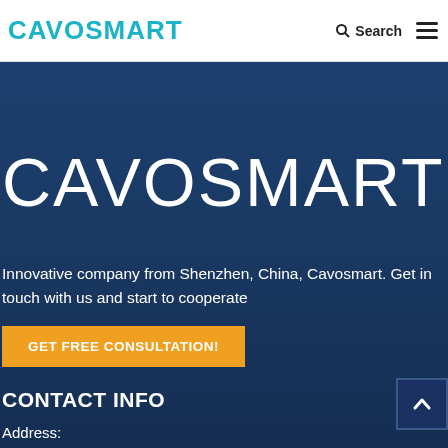CAVOSMART — Search / Menu navigation bar
[Figure (logo): CAVOSMART large white wordmark on dark blue hero background]
Innovative company from Shenzhen, China, Cavosmart. Get in touch with us and start to cooperate
GET FREE CONSULTATION!
CONTACT INFO
Address: